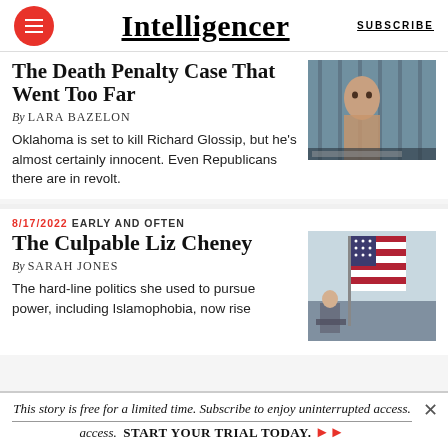Intelligencer | SUBSCRIBE
The Death Penalty Case That Went Too Far
By LARA BAZELON
Oklahoma is set to kill Richard Glossip, but he's almost certainly innocent. Even Republicans there are in revolt.
[Figure (photo): A man behind bars, appearing to be in a prison setting, looking at the camera.]
8/17/2022  EARLY AND OFTEN
The Culpable Liz Cheney
By SARAH JONES
The hard-line politics she used to pursue power, including Islamophobia, now rise...
[Figure (photo): An American flag visible at what appears to be an outdoor event, with a person speaking at a podium.]
This story is free for a limited time. Subscribe to enjoy uninterrupted access. START YOUR TRIAL TODAY. ▶▶